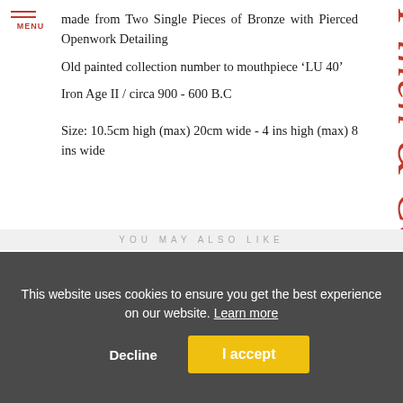MENU
made from Two Single Pieces of Bronze with Pierced Openwork Detailing
Old painted collection number to mouthpiece ‘LU 40’
Iron Age II / circa 900 - 600 B.C
Size: 10.5cm high (max) 20cm wide - 4 ins high (max) 8 ins wide
[Figure (logo): Finch & Co vertical brand text in red on right side]
YOU MAY ALSO LIKE
This website uses cookies to ensure you get the best experience on our website. Learn more
Decline
I accept